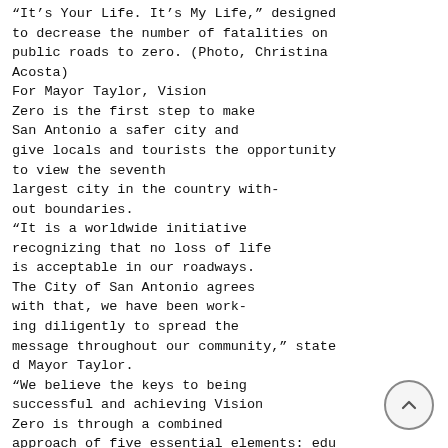“It’s Your Life. It’s My Life,” designed to decrease the number of fatalities on public roads to zero. (Photo, Christina Acosta)
For Mayor Taylor, Vision Zero is the first step to make San Antonio a safer city and give locals and tourists the opportunity to view the seventh largest city in the country without boundaries.
“It is a worldwide initiative recognizing that no loss of life is acceptable in our roadways. The City of San Antonio agrees with that, we have been working diligently to spread the message throughout our community,” stated Mayor Taylor.
“We believe the keys to being successful and achieving Vision Zero is through a combined approach of five essential elements: education, encouragement, engineering enforcement...